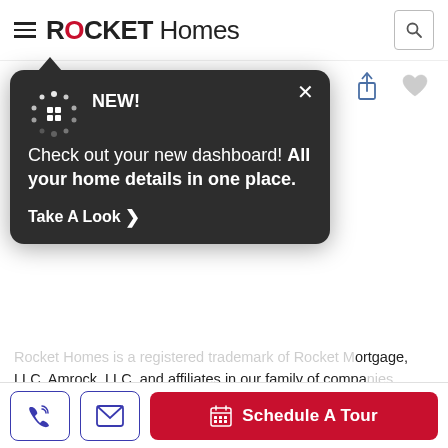ROCKET Homes
$38,000 — Belle Ctr Unit 105
[Figure (screenshot): Tooltip popup with dark background showing: NEW! Check out your new dashboard! All your home details in one place. Take A Look >]
Rocket Homes is a registered trademark of Rocket Mortgage, LLC, Amrock, LLC, and affiliates in our family of companies contact you about your inquiry at the address, email or phone (including automatic telephone dialing system or an artificial or prerecorded voice) to the residential or cellular telephone number you have provided, even if that telephone number is on a corporate, state, or national Do Not Call Registry. You do not have to agree to receive such calls or messages as a condition of getting any services from Rocket Homes Real Estate LLC or any of its affiliates. By communicating with us by phone, you consent to calls being recorded and monitored. You also agree that we
Schedule A Tour